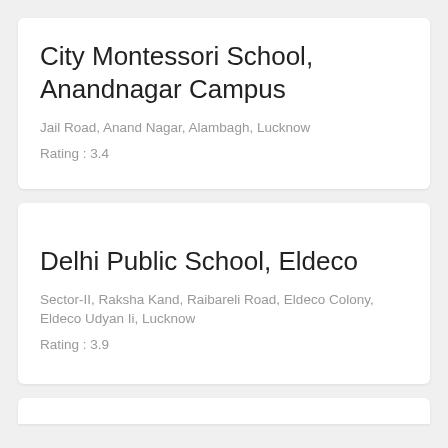City Montessori School, Anandnagar Campus
Jail Road, Anand Nagar, Alambagh, Lucknow
Rating : 3.4
Delhi Public School, Eldeco
Sector-II, Raksha Kand, Raibareli Road, Eldeco Colony, Eldeco Udyan Ii, Lucknow
Rating : 3.9